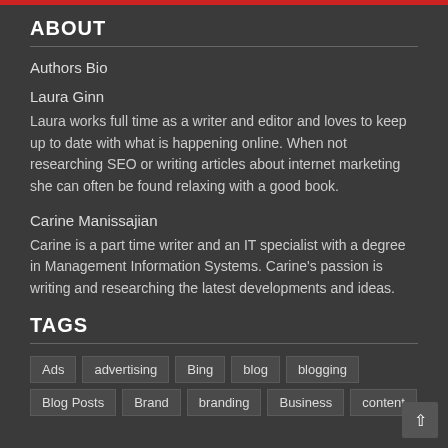ABOUT
Authors Bio
Laura Ginn
Laura works full time as a writer and editor and loves to keep up to date with what is happening online. When not researching SEO or writing articles about internet marketing she can often be found relaxing with a good book.
Carine Manissajian
Carine is a part time writer and an IT specialist with a degree in Management Information Systems. Carine's passion is writing and researching the latest developments and ideas.
TAGS
Ads
advertising
Bing
blog
blogging
Blog Posts
Brand
branding
Business
content